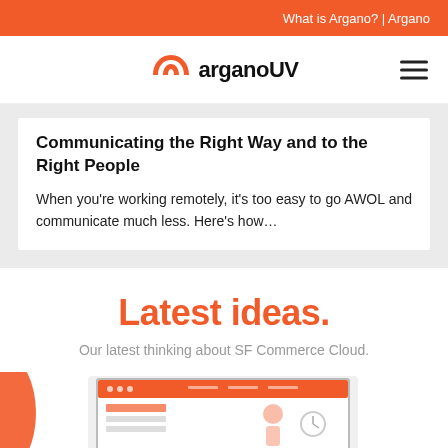What is Argano? | Argano
[Figure (logo): arganoUV logo with orange arch icon and hamburger menu icon]
Communicating the Right Way and to the Right People
When you're working remotely, it's too easy to go AWOL and communicate much less. Here's how…
Latest ideas.
Our latest thinking about SF Commerce Cloud.
[Figure (illustration): Partial illustration showing a computer monitor with an orange header bar and a person figure, next to an orange circle on the left edge]